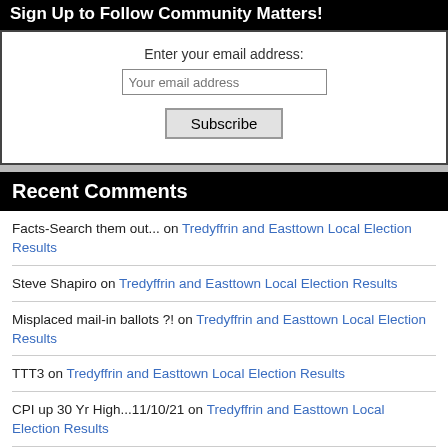Sign Up to Follow Community Matters!
Enter your email address:
Your email address
Subscribe
Recent Comments
Facts-Search them out... on Tredyffrin and Easttown Local Election Results
Steve Shapiro on Tredyffrin and Easttown Local Election Results
Misplaced mail-in ballots ?! on Tredyffrin and Easttown Local Election Results
TTT3 on Tredyffrin and Easttown Local Election Results
CPI up 30 Yr High...11/10/21 on Tredyffrin and Easttown Local Election Results
TESD--Ain't What it Used to Be... on Tredyffrin and Easttown Local Election Results